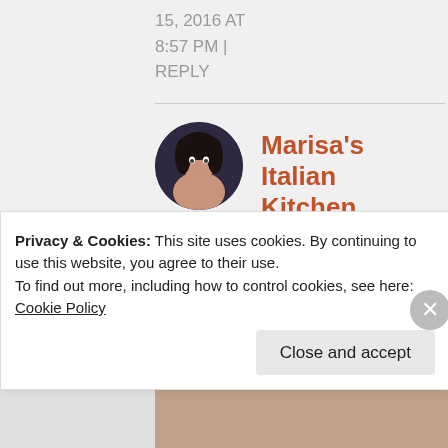15, 2016 AT 8:57 PM | REPLY
Marisa's Italian Kitchen
I love cakes such as this one and paired
Privacy & Cookies: This site uses cookies. By continuing to use this website, you agree to their use.
To find out more, including how to control cookies, see here:
Cookie Policy
Close and accept